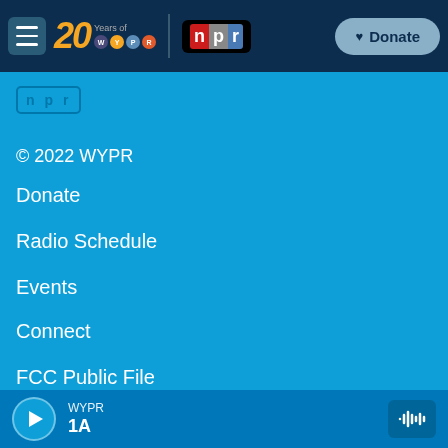[Figure (screenshot): WYPR 20 Years navigation header bar with hamburger menu, 20 Years of WYPR logo, NPR logo, and Donate button on dark navy background]
[Figure (logo): NPR logo in outlined box on blue background]
© 2022 WYPR
Donate
Radio Schedule
Events
Connect
FCC Public File
Podcasts
[Figure (screenshot): Audio player bar at bottom showing play button, WYPR station name, 1A show name, and audio waveform icon]